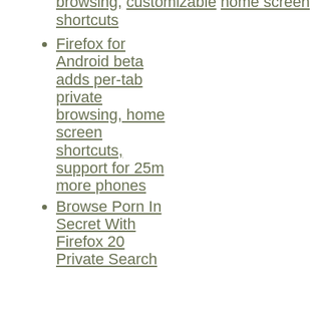browsing, customizable home screen shortcuts
Firefox for Android beta adds per-tab private browsing, home screen shortcuts, support for 25m more phones
Browse Porn In Secret With Firefox 20 Private Search